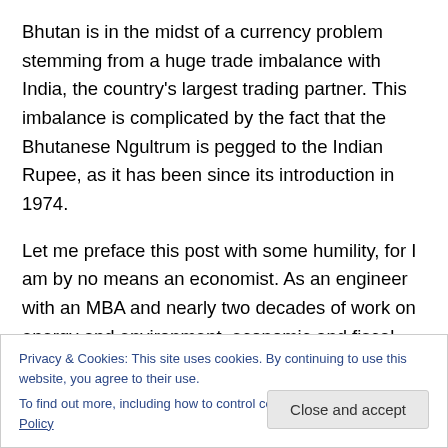Bhutan is in the midst of a currency problem stemming from a huge trade imbalance with India, the country's largest trading partner. This imbalance is complicated by the fact that the Bhutanese Ngultrum is pegged to the Indian Rupee, as it has been since its introduction in 1974.
Let me preface this post with some humility, for I am by no means an economist. As an engineer with an MBA and nearly two decades of work on energy and environment, economic and fiscal policy is not my strength. I do, however, have significant experience with thinking in
Privacy & Cookies: This site uses cookies. By continuing to use this website, you agree to their use.
To find out more, including how to control cookies, see here: Cookie Policy